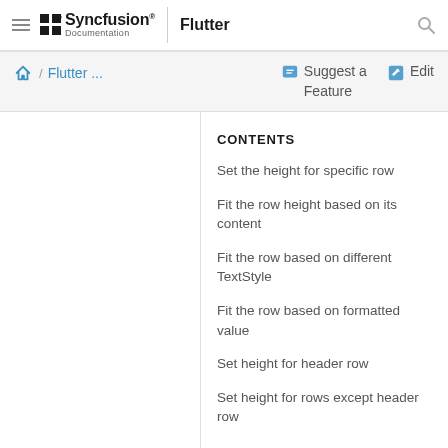Syncfusion Documentation | Flutter
Flutter ... / Suggest a Feature / Edit
CONTENTS
Set the height for specific row
Fit the row height based on its content
Fit the row based on different TextStyle
Fit the row based on formatted value
Set height for header row
Set height for rows except header row